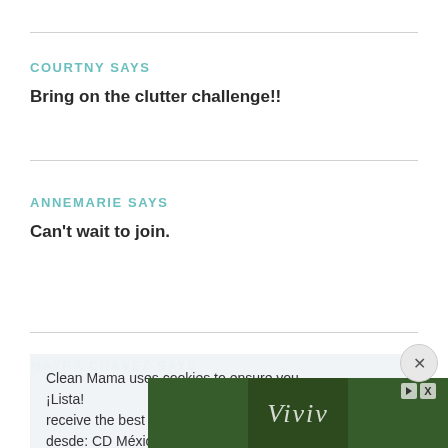COURTNY SAYS
Bring on the clutter challenge!!
ANNEMARIE SAYS
Can't wait to join.
MAYRA CHÁVEZ SAYS
¡Lista!
desde: CD México
Clean Mama uses cookies to ensure you receive the best website experience. Learn more.
ACCEPT
[Figure (photo): Advertisement banner with foliage/outdoor scene background and decorative script logo]
SHA